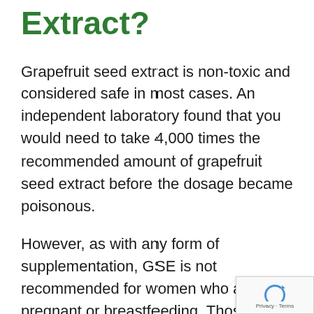Extract?
Grapefruit seed extract is non-toxic and considered safe in most cases. An independent laboratory found that you would need to take 4,000 times the recommended amount of grapefruit seed extract before the dosage became poisonous.
However, as with any form of supplementation, GSE is not recommended for women who are pregnant or breastfeeding. Those with serious health conditions are also advised to seek advice from a health professional before commencing GSE treatment. It is possible GSE to interact with certain medications, so